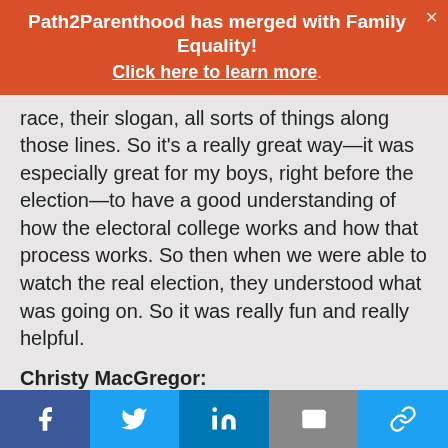Path2Parenthood has merged with Family Equality!
Click here to learn more.
race, their slogan, all sorts of things along those lines. So it's a really great way—it was especially great for my boys, right before the election—to have a good understanding of how the electoral college works and how that process works. So then when we were able to watch the real election, they understood what was going on. So it was really fun and really helpful.
Christy MacGregor:
What is a favorite family tradition?
Matthew Ramsey:
Facebook | Twitter | LinkedIn | Email | Link